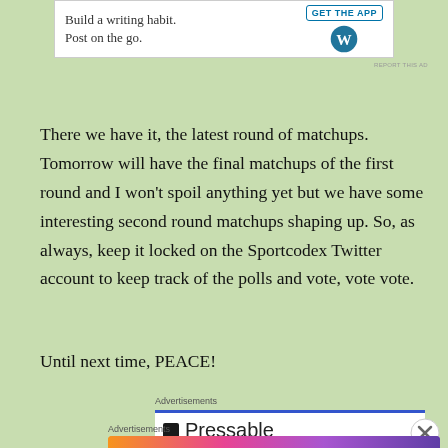[Figure (screenshot): Top advertisement banner for WordPress app with text 'Build a writing habit. Post on the go.' and GET THE APP button with WordPress logo]
There we have it, the latest round of matchups. Tomorrow will have the final matchups of the first round and I won't spoil anything yet but we have some interesting second round matchups shaping up. So, as always, keep it locked on the Sportcodex Twitter account to keep track of the polls and vote, vote vote.
Until next time, PEACE!
Advertisements
[Figure (screenshot): Pressable advertisement banner with blue top bar and Pressable logo and text]
Advertisements
[Figure (screenshot): FANDOM ON tumblr advertisement banner with colorful gradient background in orange, pink, and purple colors]